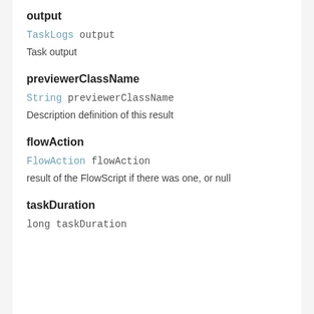output
TaskLogs output
Task output
previewerClassName
String previewerClassName
Description definition of this result
flowAction
FlowAction flowAction
result of the FlowScript if there was one, or null
taskDuration
long taskDuration